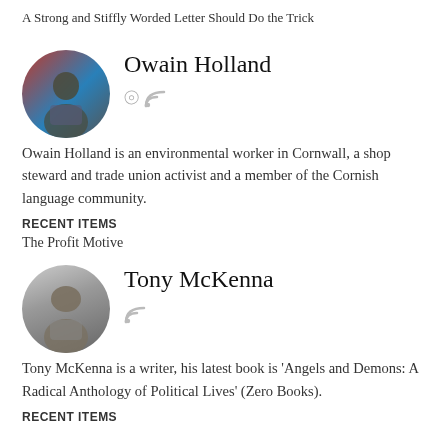A Strong and Stiffly Worded Letter Should Do the Trick
[Figure (photo): Circular avatar photo of Owain Holland, showing a person at a podium with a red and blue background]
Owain Holland
Owain Holland is an environmental worker in Cornwall, a shop steward and trade union activist and a member of the Cornish language community.
RECENT ITEMS
The Profit Motive
[Figure (photo): Circular avatar photo of Tony McKenna, showing a bald man with light background]
Tony McKenna
Tony McKenna is a writer, his latest book is 'Angels and Demons: A Radical Anthology of Political Lives' (Zero Books).
RECENT ITEMS